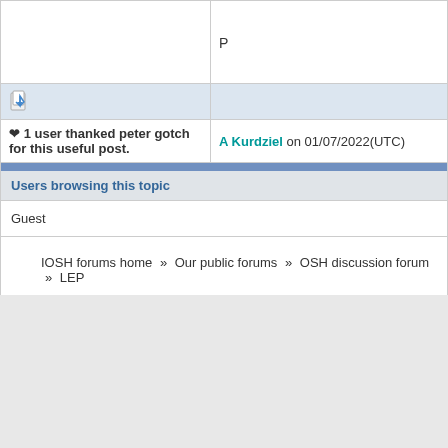P
| [icon] |  |
| ❤ 1 user thanked peter gotch for this useful post. | A Kurdziel on 01/07/2022(UTC) |
Users browsing this topic
Guest
IOSH forums home » Our public forums » OSH discussion forum » LEP